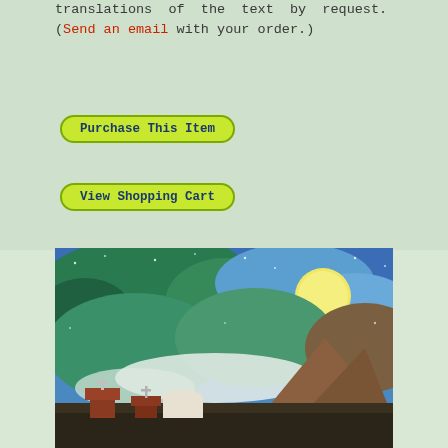translations of the text by request. (Send an email with your order.)
Purchase This Item
View Shopping Cart
[Figure (illustration): A colorful watercolor-style painting depicting a night scene with a full moon, blue and green clouds or mountains in the background, small adobe church buildings with crosses in the foreground, and a starry sky.]